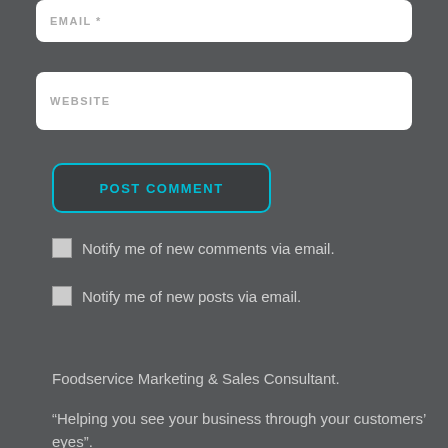[Figure (screenshot): Email input field with placeholder text EMAIL *]
[Figure (screenshot): Website input field with placeholder text WEBSITE]
[Figure (screenshot): POST COMMENT button with teal border and text]
Notify me of new comments via email.
Notify me of new posts via email.
Foodservice Marketing & Sales Consultant.
“Helping you see your business through your customers’ eyes”.